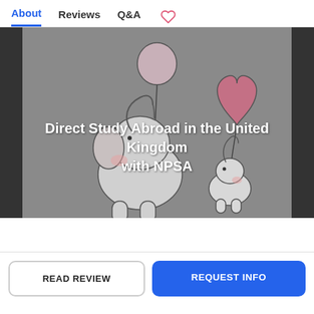About   Reviews   Q&A  ♡
[Figure (illustration): Cartoon illustration of a large elephant and a small elephant/creature, both looking up at balloons. The large elephant holds a round balloon and the small one holds a heart-shaped pink balloon. Background is grey. Text overlay reads: Direct Study Abroad in the United Kingdom with NPSA]
Direct Study Abroad in the United Kingdom with NPSA
READ REVIEW
REQUEST INFO